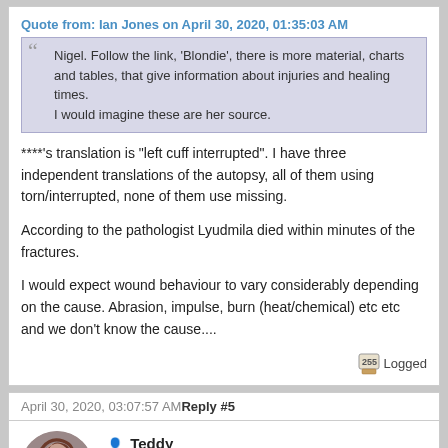Quote from: Ian Jones on April 30, 2020, 01:35:03 AM
Nigel. Follow the link, 'Blondie', there is more material, charts and tables, that give information about injuries and healing times.
I would imagine these are her source.
****'s translation is "left cuff interrupted". I have three independent translations of the autopsy, all of them using torn/interrupted, none of them use missing.
According to the pathologist Lyudmila died within minutes of the fractures.
I would expect wound behaviour to vary considerably depending on the cause. Abrasion, impulse, burn (heat/chemical) etc etc and we don't know the cause....
Logged
April 30, 2020, 03:07:57 AM Reply #5
Teddy
Administrator